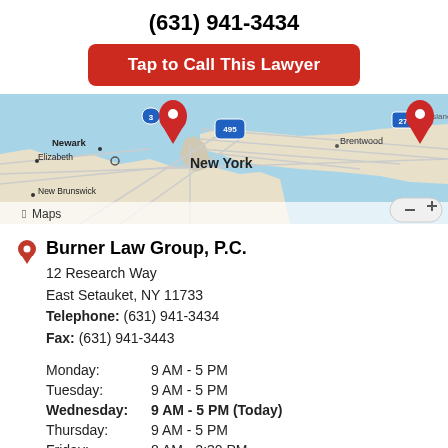(631) 941-3434
Tap to Call This Lawyer
[Figure (map): Apple Maps screenshot showing the New York metropolitan area including Newark, Elizabeth, New Brunswick, New York, Brentwood, and surrounding regions with roads and water bodies visible. A red location pin marker is visible.]
Burner Law Group, P.C.
12 Research Way
East Setauket, NY 11733
Telephone: (631) 941-3434
Fax: (631) 941-3443
| Monday: | 9 AM - 5 PM |
| Tuesday: | 9 AM - 5 PM |
| Wednesday: | 9 AM - 5 PM (Today) |
| Thursday: | 9 AM - 5 PM |
| Friday: | 8 AM - 2:30 PM |